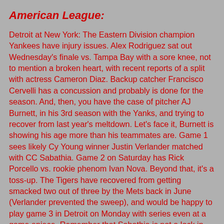American League:
Detroit at New York: The Eastern Division champion Yankees have injury issues. Alex Rodriguez sat out Wednesday's finale vs. Tampa Bay with a sore knee, not to mention a broken heart, with recent reports of a split with actress Cameron Diaz. Backup catcher Francisco Cervelli has a concussion and probably is done for the season. And, then, you have the case of pitcher AJ Burnett, in his 3rd season with the Yanks, and trying to recover from last year's meltdown. Let's face it, Burnett is showing his age more than his teammates are. Game 1 sees likely Cy Young winner Justin Verlander matched with CC Sabathia. Game 2 on Saturday has Rick Porcello vs. rookie phenom Ivan Nova. Beyond that, it's a toss-up. The Tigers have recovered from getting smacked two out of three by the Mets back in June (Verlander prevented the sweep), and would be happy to play game 3 in Detroit on Monday with series even at a game apiece. Remember that Sabathia is not a lock in the postseason, as was shown in '08 with Milwaukee. While network executives would love to see the Yankees advance, that would only merit a collective yawn. Like dullsville. The